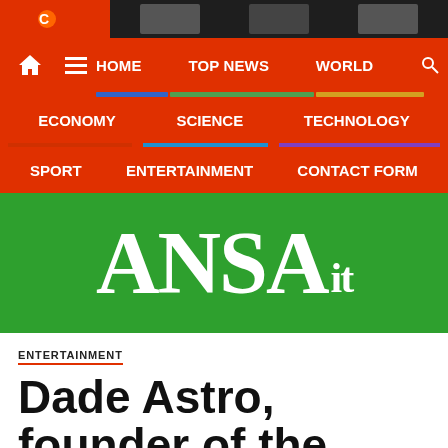[Figure (screenshot): Top dark strip with ANSA logo and navigation thumbnail images]
HOME  TOP NEWS  WORLD  ECONOMY  SCIENCE  TECHNOLOGY  SPORT  ENTERTAINMENT  CONTACT FORM
[Figure (logo): ANSAit logo in white text on green background]
ENTERTAINMENT
Dade Astro, founder of the